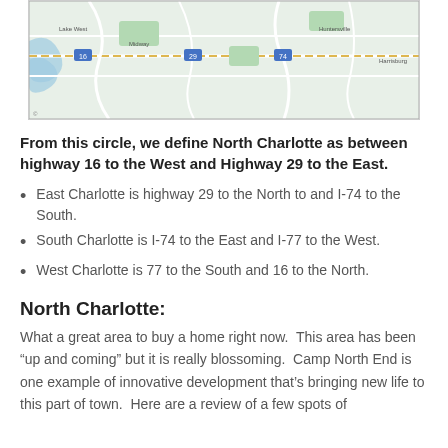[Figure (map): Street map showing North Charlotte area with highways and neighborhoods]
From this circle, we define North Charlotte as between highway 16 to the West and Highway 29 to the East.
East Charlotte is highway 29 to the North to and I-74 to the South.
South Charlotte is I-74 to the East and I-77 to the West.
West Charlotte is 77 to the South and 16 to the North.
North Charlotte:
What a great area to buy a home right now.  This area has been “up and coming” but it is really blossoming.  Camp North End is one example of innovative development that’s bringing new life to this part of town.  Here are a review of a few spots of